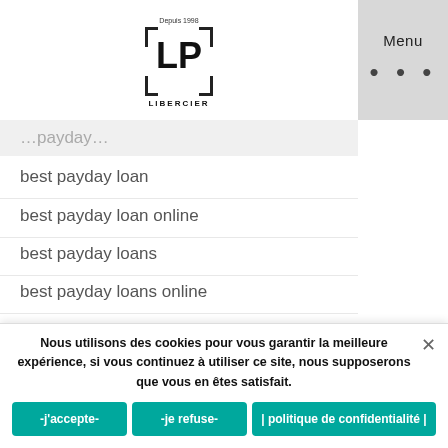LP Libercier - Menu
best payday loan
best payday loan online
best payday loans
best payday loans online
best paydayloan
Best Payout best online gambling
best personal loans for fair credit
Best Rated Dating Site
Nous utilisons des cookies pour vous garantir la meilleure expérience, si vous continuez à utiliser ce site, nous supposerons que vous en êtes satisfait.
-j'accepte-  -je refuse-  | politique de confidentialité |